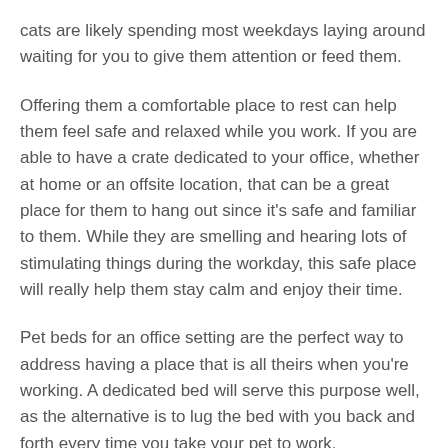cats are likely spending most weekdays laying around waiting for you to give them attention or feed them.
Offering them a comfortable place to rest can help them feel safe and relaxed while you work. If you are able to have a crate dedicated to your office, whether at home or an offsite location, that can be a great place for them to hang out since it's safe and familiar to them. While they are smelling and hearing lots of stimulating things during the workday, this safe place will really help them stay calm and enjoy their time.
Pet beds for an office setting are the perfect way to address having a place that is all theirs when you're working. A dedicated bed will serve this purpose well, as the alternative is to lug the bed with you back and forth every time you take your pet to work.